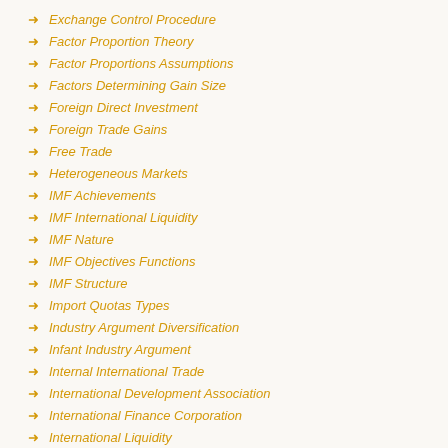Exchange Control Procedure
Factor Proportion Theory
Factor Proportions Assumptions
Factors Determining Gain Size
Foreign Direct Investment
Foreign Trade Gains
Free Trade
Heterogeneous Markets
IMF Achievements
IMF International Liquidity
IMF Nature
IMF Objectives Functions
IMF Structure
Import Quotas Types
Industry Argument Diversification
Infant Industry Argument
Internal International Trade
International Development Association
International Finance Corporation
International Liquidity